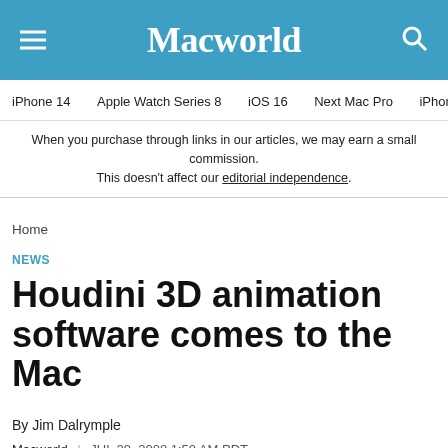Macworld
iPhone 14 | Apple Watch Series 8 | iOS 16 | Next Mac Pro | iPhone d
When you purchase through links in our articles, we may earn a small commission. This doesn't affect our editorial independence.
Home
NEWS
Houdini 3D animation software comes to the Mac
By Jim Dalrymple
Macworld | JUL 29, 2008 1:50 AM PDT